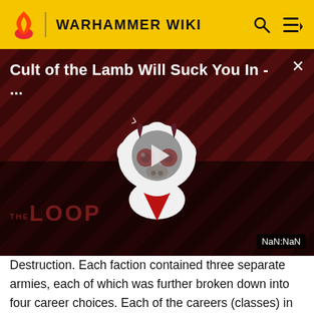WARHAMMER WIKI
[Figure (screenshot): Video thumbnail for 'Cult of the Lamb Will Suck You In - ...' with The Loop branding, diagonal red/dark stripes background, cartoon lamb character, gray play button, and NaN:NaN timestamp badge]
Destruction. Each faction contained three separate armies, each of which was further broken down into four career choices. Each of the careers (classes) in Warhammer Online conform to an archetype role. For example, the Warrior Priest is an archetypal support or